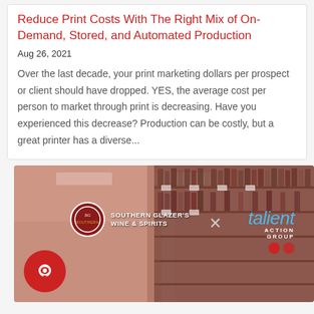Reduce Print Costs With The Right Mix of On-Demand, Stored, and Automated Production
Aug 26, 2021
Over the last decade, your print marketing dollars per prospect or client should have dropped. YES, the average cost per person to market through print is decreasing. Have you experienced this decrease? Production can be costly, but a great printer has a diverse...
[Figure (photo): Advertisement image showing a wine and spirits store aisle with bottle shelves. Contains Southern Glazer's Wine & Spirits logo, an 'x' symbol, and Talient Action Group branding with teal text and red dots. A red chat bubble icon is in the bottom left corner.]